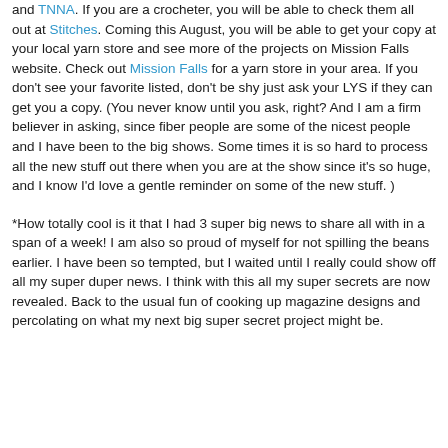and TNNA. If you are a crocheter, you will be able to check them all out at Stitches. Coming this August, you will be able to get your copy at your local yarn store and see more of the projects on Mission Falls website. Check out Mission Falls for a yarn store in your area. If you don't see your favorite listed, don't be shy just ask your LYS if they can get you a copy. (You never know until you ask, right? And I am a firm believer in asking, since fiber people are some of the nicest people and I have been to the big shows. Some times it is so hard to process all the new stuff out there when you are at the show since it's so huge, and I know I'd love a gentle reminder on some of the new stuff. )
*How totally cool is it that I had 3 super big news to share all with in a span of a week! I am also so proud of myself for not spilling the beans earlier. I have been so tempted, but I waited until I really could show off all my super duper news. I think with this all my super secrets are now revealed. Back to the usual fun of cooking up magazine designs and percolating on what my next big super secret project might be.